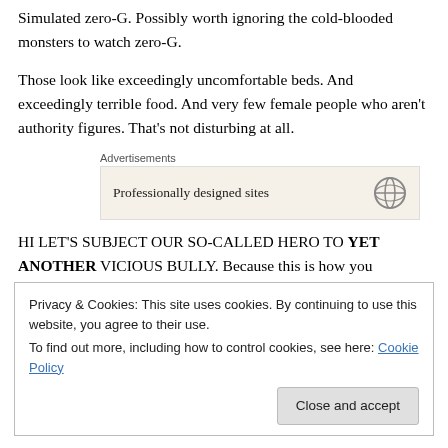Simulated zero-G. Possibly worth ignoring the cold-blooded monsters to watch zero-G.
Those look like exceedingly uncomfortable beds. And exceedingly terrible food. And very few female people who aren't authority figures. That's not disturbing at all.
[Figure (other): Advertisement box with text 'Professionally designed sites' and a WordPress logo icon, on a beige background, labeled 'Advertisements']
HI LET'S SUBJECT OUR SO-CALLED HERO TO YET ANOTHER VICIOUS BULLY. Because this is how you
Privacy & Cookies: This site uses cookies. By continuing to use this website, you agree to their use.
To find out more, including how to control cookies, see here: Cookie Policy
[Close and accept button]
Film, you are not training officers. Or geniuses. Because if